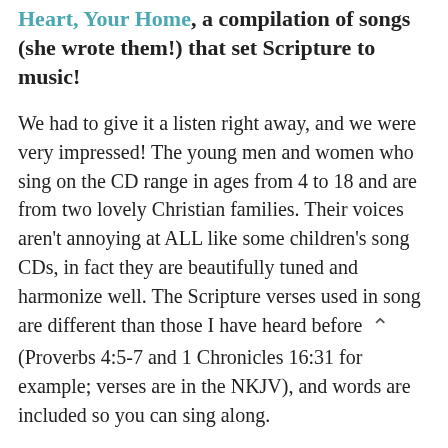Heart, Your Home, a compilation of songs (she wrote them!) that set Scripture to music!
We had to give it a listen right away, and we were very impressed! The young men and women who sing on the CD range in ages from 4 to 18 and are from two lovely Christian families. Their voices aren't annoying at ALL like some children's song CDs, in fact they are beautifully tuned and harmonize well. The Scripture verses used in song are different than those I have heard before (Proverbs 4:5-7 and 1 Chronicles 16:31 for example; verses are in the NKJV), and words are included so you can sing along.